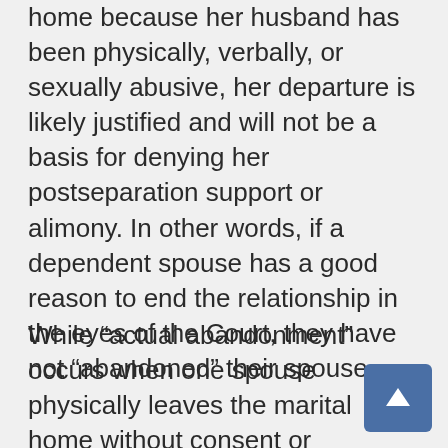home because her husband has been physically, verbally, or sexually abusive, her departure is likely justified and will not be a basis for denying her postseparation support or alimony. In other words, if a dependent spouse has a good reason to end the relationship in the eyes of the Court, they have not “abandoned” their spouse.
While “actual abandonment” occurs when one spouse physically leaves the marital home without consent or justification, “constructive abandonment” can occur when the parties still live under the same roof. By way of example, “constructive